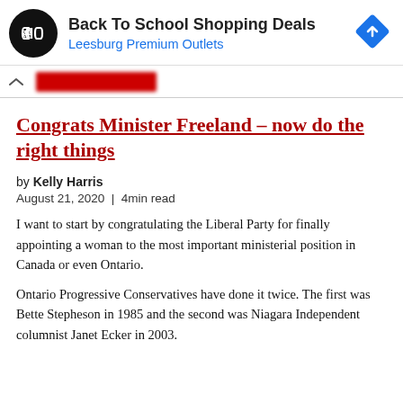[Figure (infographic): Advertisement banner for 'Back To School Shopping Deals' at Leesburg Premium Outlets. Contains a black circular logo with a double-arrow symbol, the ad text, and a blue diamond-shaped navigation arrow icon on the right.]
[Figure (infographic): Ad control bar with an upward caret (^) and a red blurred/redacted button area.]
Congrats Minister Freeland – now do the right things
by Kelly Harris
August 21, 2020 | 4min read
I want to start by congratulating the Liberal Party for finally appointing a woman to the most important ministerial position in Canada or even Ontario.
Ontario Progressive Conservatives have done it twice. The first was Bette Stepheson in 1985 and the second was Niagara Independent columnist Janet Ecker in 2003.